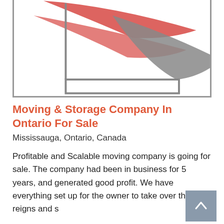[Figure (logo): Moving/transportation company logo with red and gray chevron/arrow shapes on a white background with gray border]
Moving & Storage Company In Ontario For Sale
Mississauga, Ontario, Canada
Profitable and Scalable moving company is going for sale. The company had been in business for 5 years, and generated good profit. We have everything set up for the owner to take over the reigns and s
Storage & Warehouse Business For Sale, Transportation Business For Sale